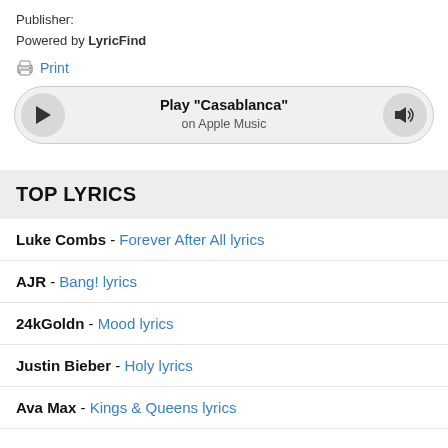Publisher:
Powered by LyricFind
Print
[Figure (other): Music player bar showing play button on left, 'Play "Casablanca" on Apple Music' text in center, and volume icon on right]
TOP LYRICS
Luke Combs - Forever After All lyrics
AJR - Bang! lyrics
24kGoldn - Mood lyrics
Justin Bieber - Holy lyrics
Ava Max - Kings & Queens lyrics